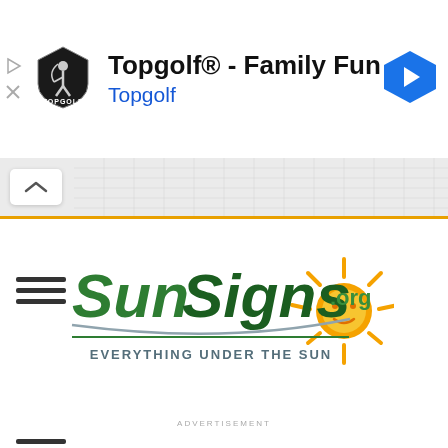[Figure (screenshot): Topgolf advertisement banner with Topgolf shield logo, title 'Topgolf® - Family Fun', subtitle 'Topgolf' in blue, play/close ad icons on left, blue navigation arrow on right]
[Figure (screenshot): Collapse bar with chevron up button and grid/graph area, with orange bottom border]
[Figure (logo): SunSigns.org logo - green stylized text 'SunSigns' with sun graphic and tagline 'EVERYTHING UNDER THE SUN']
ADVERTISEMENT